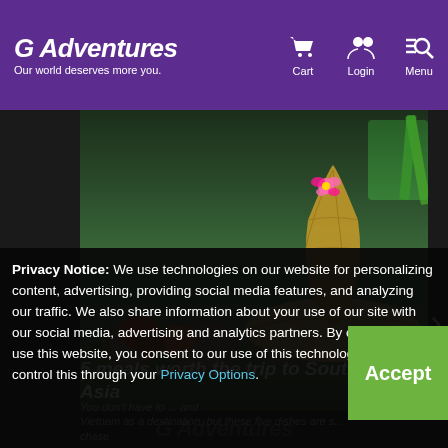G Adventures — Our world deserves more you. | Cart | Login | Menu
[Figure (photo): Aerial view of a floating market with baskets of fruit and vegetables, and a person wearing a traditional woven conical hat with a pink flower]
5 meals worth the trip to Southeast Asia
You don't have to ... and ... Vietnam as a destination, but these five dishes are sure to chase...
Privacy Notice: We use technologies on our website for personalizing content, advertising, providing social media features, and analyzing our traffic. We also share information about your use of our site with our social media, advertising and analytics partners. By continuing to use this website, you consent to our use of this technology. You can control this through your Privacy Options.